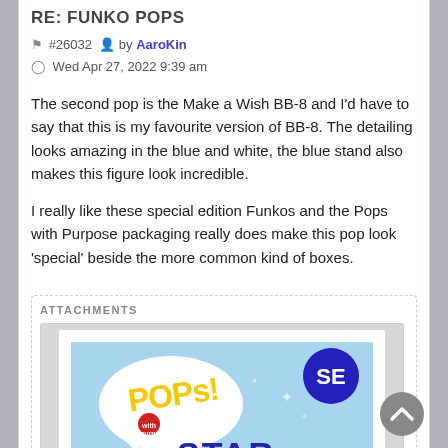RE: FUNKO POPS
#26032 by AaroKin
Wed Apr 27, 2022 9:39 am
The second pop is the Make a Wish BB-8 and I'd have to say that this is my favourite version of BB-8. The detailing looks amazing in the blue and white, the blue stand also makes this figure look incredible.
I really like these special edition Funkos and the Pops with Purpose packaging really does make this pop look 'special' beside the more common kind of boxes.
ATTACHMENTS
[Figure (photo): Photo of a Funko Pop 'Pops with Purpose' Star Wars special edition box showing the Pops! logo with a heart and 'with purpose' text, an SE badge in the top right, and STAR text at the bottom in blue.]